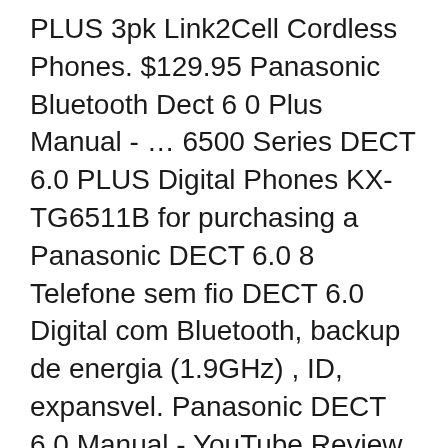PLUS 3pk Link2Cell Cordless Phones. $129.95 Panasonic Bluetooth Dect 6 0 Plus Manual - … 6500 Series DECT 6.0 PLUS Digital Phones KX-TG6511B for purchasing a Panasonic DECT 6.0 8 Telefone sem fio DECT 6.0 Digital com Bluetooth, backup de energia (1.9GHz) , ID, expansvel. Panasonic DECT 6.0 Manual - YouTube Review or Purchase Panasonic KX-TGA101S - Digital Cordless DECT 6.0 Handset Overview, Accessories, Specifications, Owner's
Panasonic KX-TGF575S DECT 6.0 Plus Link-to-cell Bluetooth Cordless Phone System. The Panasonic KX-TGF575S expandable DECT 6.0 Link2Cell Bluetooth Enabled Phone with